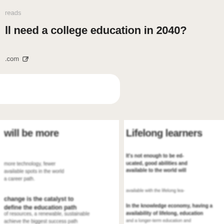reads
ll need a college education in 2040?
.com
[Figure (screenshot): White rounded card UI element]
will be more
Blurred body text in left column about college education topics
Lifelong learners
It's not enough to be educated. Having good abilities and knowledge available to the world will...
available with the lifelong lea...
In the knowledge economy, having a availability of lifelong education...
and a longer-term economic and...